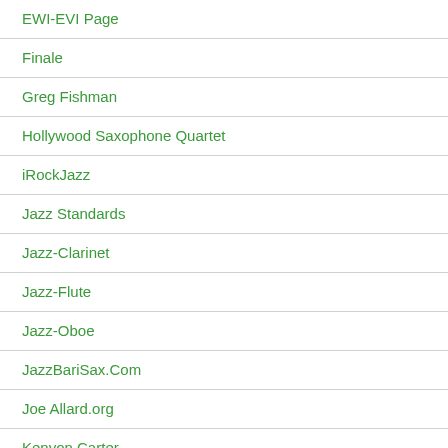EWI-EVI Page
Finale
Greg Fishman
Hollywood Saxophone Quartet
iRockJazz
Jazz Standards
Jazz-Clarinet
Jazz-Flute
Jazz-Oboe
JazzBariSax.Com
Joe Allard.org
Kenyon Carter